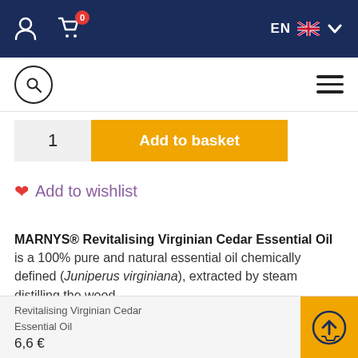EN — navigation bar with user icon, cart (0), language selector EN, UK flag
[Figure (screenshot): Sub-navigation bar with search circle icon and hamburger menu]
1   Add to basket
♥ Add to wishlist
MARNYS® Revitalising Virginian Cedar Essential Oil is a 100% pure and natural essential oil chemically defined (Juniperus virginiana), extracted by steam distilling the wood.
Revitalising Virginian Cedar Essential Oil
6,6 €